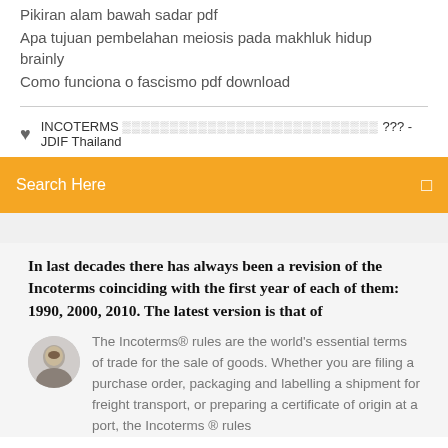Pikiran alam bawah sadar pdf
Apa tujuan pembelahan meiosis pada makhluk hidup brainly
Como funciona o fascismo pdf download
INCOTERMS ??????????????????????????????????? ??? - JDIF Thailand
Search Here
In last decades there has always been a revision of the Incoterms coinciding with the first year of each of them: 1990, 2000, 2010. The latest version is that of
The Incoterms® rules are the world's essential terms of trade for the sale of goods. Whether you are filing a purchase order, packaging and labelling a shipment for freight transport, or preparing a certificate of origin at a port, the Incoterms ® rules